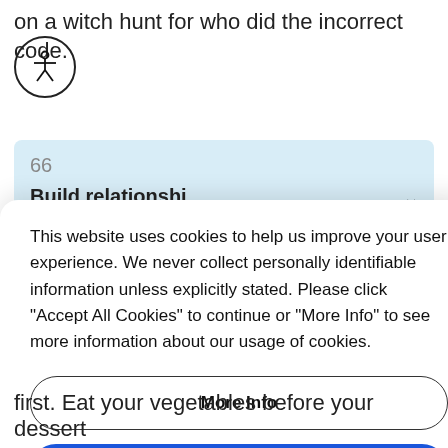on a witch hunt for who did the incorrect code.
[Figure (illustration): Accessibility icon: a circle with a human figure (arms and legs extended) inside]
66
Build relationshi...
This website uses cookies to help us improve your user experience. We never collect personally identifiable information unless explicitly stated. Please click "Accept All Cookies" to continue or "More Info" to see more information about our usage of cookies.
More Info
Accept All Cookies
first. Eat your vegetables before your dessert